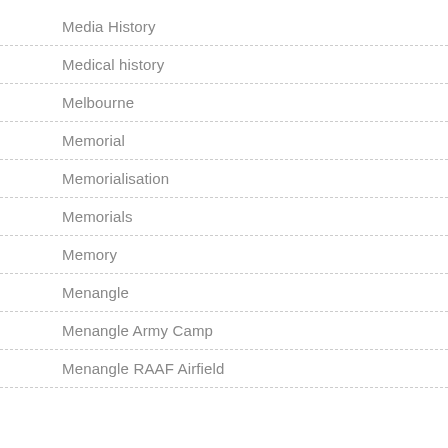Media History
Medical history
Melbourne
Memorial
Memorialisation
Memorials
Memory
Menangle
Menangle Army Camp
Menangle RAAF Airfield